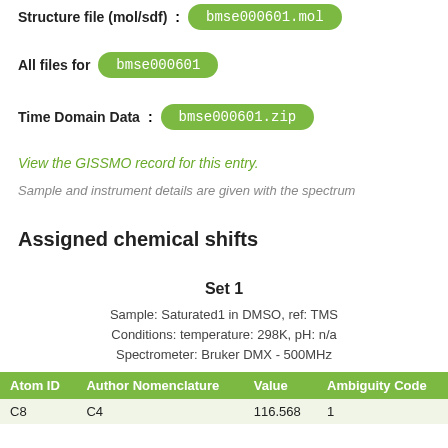Structure file (mol/sdf): bmse000601.mol
All files for bmse000601
Time Domain Data: bmse000601.zip
View the GISSMO record for this entry.
Sample and instrument details are given with the spectrum
Assigned chemical shifts
Set 1
Sample: Saturated1 in DMSO, ref: TMS
Conditions: temperature: 298K, pH: n/a
Spectrometer: Bruker DMX - 500MHz
| Atom ID | Author Nomenclature | Value | Ambiguity Code |
| --- | --- | --- | --- |
| C8 | C4 | 116.568 | 1 |